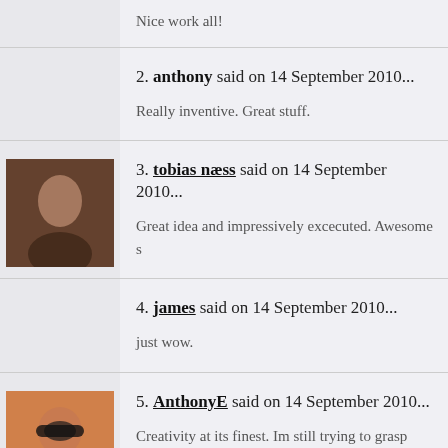Nice work all!
2. anthony said on 14 September 2010...
Really inventive. Great stuff.
[Figure (photo): Avatar photo of tobias næss]
3. tobias næss said on 14 September 2010...
Great idea and impressively excecuted. Awesome s
4. james said on 14 September 2010...
just wow.
[Figure (photo): Avatar photo of AnthonyE]
5. AnthonyE said on 14 September 2010...
Creativity at its finest. Im still trying to grasp how yo scan. Could you possibly elaborate on that a bit mo